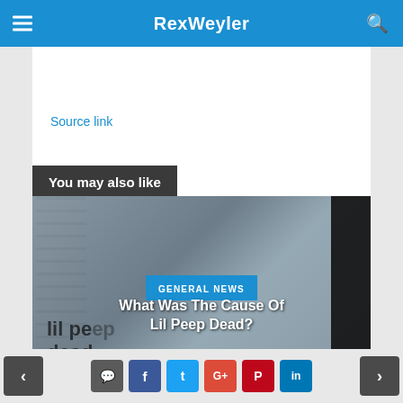RexWeyler
Source link
You may also like
[Figure (photo): Photo of Lil Peep performing on stage with pink hair and tattoos, overlaid with article card showing title 'What Was The Cause Of Lil Peep Dead?' dated September 2, 2022 under GENERAL NEWS category]
Navigation bar with previous/next arrows and social share buttons: comment, Facebook, Twitter, Google+, Pinterest, LinkedIn